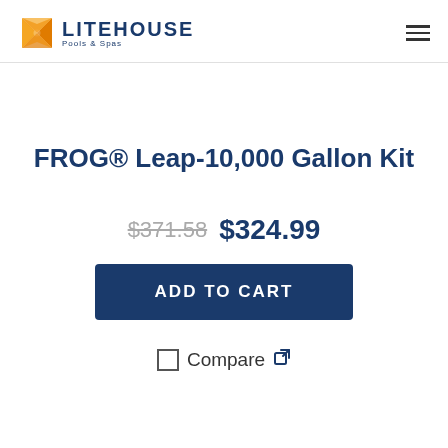[Figure (logo): Litehouse Pools & Spas logo with orange star-like icon and dark blue text]
FROG® Leap-10,000 Gallon Kit
$371.58 $324.99
ADD TO CART
Compare